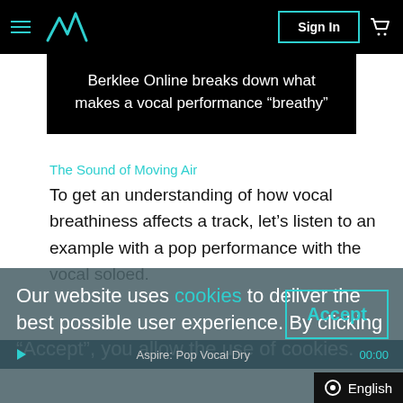Sign In
Berklee Online breaks down what makes a vocal performance “breathy”
The Sound of Moving Air
To get an understanding of how vocal breathiness affects a track, let’s listen to an example with a pop performance with the vocal soloed.
Our website uses cookies to deliver the best possible user experience. By clicking “Accept”, you allow the use of cookies.
Aspire: Pop Vocal Dry  00:00
English